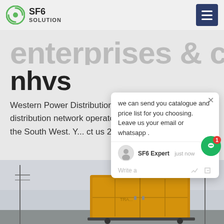SF6 SOLUTION
nhvs
Western Power Distribution is the electricity distribution network operator for the South Wales and the South West. Y... ct us 24 hours a
Get Price
we can send you catalogue and price list for you choosing.
Leave us your email or whatsapp .
SF6 Expert   just now
Write a
[Figure (photo): Bottom portion of page showing a yellow truck/container vehicle photographed from behind, with industrial infrastructure and overcast sky in the background.]